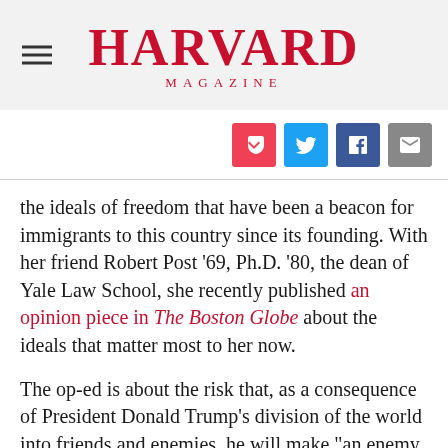[Figure (logo): Harvard Magazine logo with hamburger menu icon on the left]
[Figure (other): Social sharing icons: Pocket (red), Twitter (blue), Facebook (dark blue), Email (gray)]
the ideals of freedom that have been a beacon for immigrants to this country since its founding. With her friend Robert Post '69, Ph.D. '80, the dean of Yale Law School, she recently published an opinion piece in The Boston Globe about the ideals that matter most to her now.
The op-ed is about the risk that, as a consequence of President Donald Trump's division of the world into friends and enemies, he will make "an enemy of the law and the Constitution." They wrote, "We are deans of respected law schools. We have